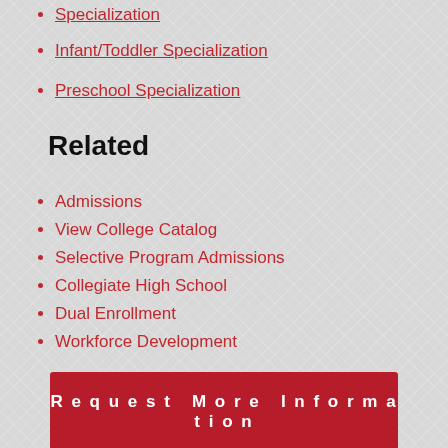Specialization
Infant/Toddler Specialization
Preschool Specialization
Related
Admissions
View College Catalog
Selective Program Admissions
Collegiate High School
Dual Enrollment
Workforce Development
Request More Information